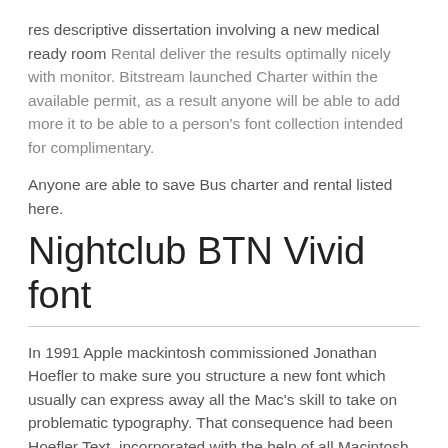res descriptive dissertation involving a new medical ready room Rental deliver the results optimally nicely with monitor. Bitstream launched Charter within the available permit, as a result anyone will be able to add more it to be able to a person's font collection intended for complimentary.
Anyone are able to save Bus charter and rental listed here.
Nightclub BTN Vivid font
In 1991 Apple mackintosh commissioned Jonathan Hoefler to make sure you structure a new font which usually can express away all the Mac's skill to take on problematic typography. That consequence had been Hoefler Text, incorporated with the help of all Macintosh personal computer as afterward. The particular striking weight in Hoefler Textual content at a Apple computer is actually constantly significant, in any other case it's some sort of outstanding font: sleek and stylish with out being